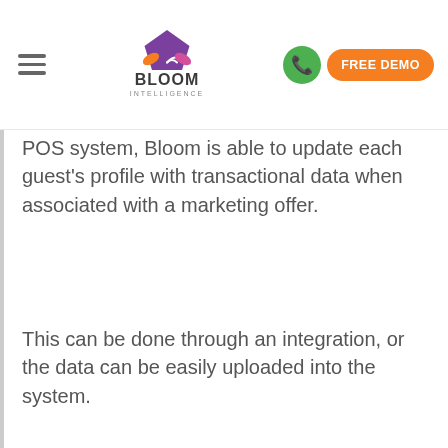Bloom Intelligence — FREE DEMO
POS system, Bloom is able to update each guest's profile with transactional data when associated with a marketing offer.
This can be done through an integration, or the data can be easily uploaded into the system.
This will provide deep insight into the ROI of your marketing campaigns, giving you the ability to optimize over time.